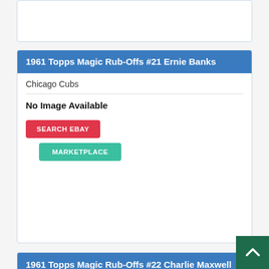[Figure (screenshot): Top partial white card with blue border, content not visible]
1961 Topps Magic Rub-Offs #21 Ernie Banks
Chicago Cubs
No Image Available
SEARCH EBAY
MARKETPLACE
1961 Topps Magic Rub-Offs #22 Charlie Maxwell
Detroit Tigers
No Image Available